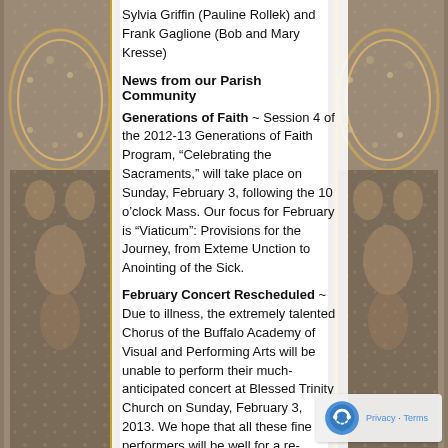Sylvia Griffin (Pauline Rollek) and Frank Gaglione (Bob and Mary Kresse)
News from our Parish Community
Generations of Faith ~ Session 4 of the 2012-13 Generations of Faith Program, “Celebrating the Sacraments,” will take place on Sunday, February 3, following the 10 o’clock Mass. Our focus for February is “Viaticum”: Provisions for the Journey, from Exteme Unction to Anointing of the Sick.
February Concert Rescheduled ~ Due to illness, the extremely talented Chorus of the Buffalo Academy of Visual and Performing Arts will be unable to perform their much-anticipated concert at Blessed Trinity Church on Sunday, February 3, 2013. We hope that all these fine performers will be well for a re-scheduled concert at 3:00 PM on Sunday, June 2, 2013. For more information on our Trinity Concert Series of “beautiful music in a beautiful space.”